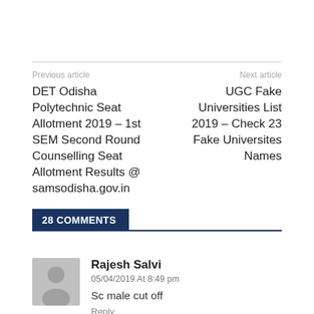Previous article
DET Odisha Polytechnic Seat Allotment 2019 – 1st SEM Second Round Counselling Seat Allotment Results @ samsodisha.gov.in
Next article
UGC Fake Universities List 2019 – Check 23 Fake Universites Names
28 COMMENTS
Rajesh Salvi
05/04/2019 At 8:49 pm
Sc male cut off
Reply